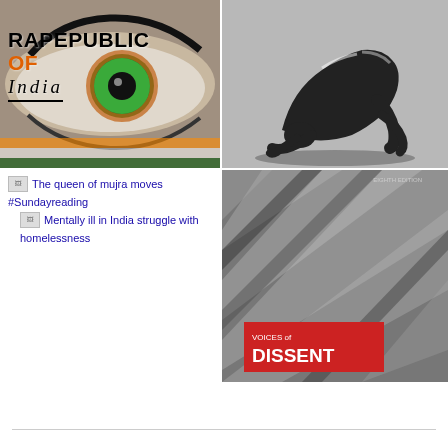[Figure (illustration): Close-up of an eye with green and orange iris, overlaid with bold black text reading RAPEPUBLIC OF India]
[Figure (photo): Black and white artistic photo of a person bent over in a yoga-like pose]
[Figure (photo): Black and white photo with striped shadows, featuring a red banner with text VOICES of DISSENT]
The queen of mujra moves #Sundayreading
Mentally ill in India struggle with homelessness